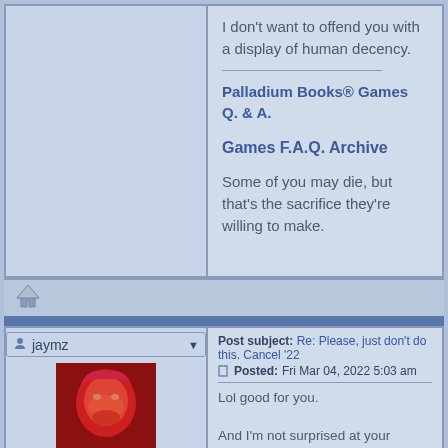I don't want to offend you with a display of human decency.
Palladium Books® Games Q. & A.
Games F.A.Q. Archive
Some of you may die, but that's the sacrifice they're willing to make.
[Figure (illustration): Home/navigation up arrow icon]
Post subject: Re: Please, just don't do this. Cancel '22
Posted: Fri Mar 04, 2022 5:03 am
jaymz
[Figure (photo): User avatar showing a red-toned face illustration]
Paladin
Lol good for you.

And I'm not surprised at your vehement defense of a person